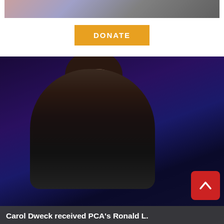[Figure (photo): Partial top image showing people at an event, cropped]
DONATE
[Figure (photo): Carol Dweck smiling and laughing at an event, wearing a black blazer, against a dark blue/purple backdrop]
Carol Dweck received PCA's Ronald L.